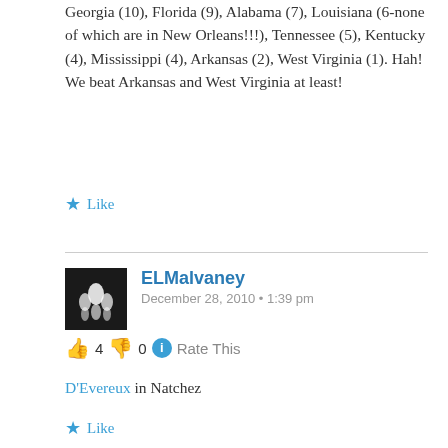Georgia (10), Florida (9), Alabama (7), Louisiana (6-none of which are in New Orleans!!!), Tennessee (5), Kentucky (4), Mississippi (4), Arkansas (2), West Virginia (1). Hah! We beat Arkansas and West Virginia at least!
Like
ELMalvaney
December 28, 2010 • 1:39 pm
👍 4 👎 0 ℹ Rate This
D'Evereux in Natchez
Like
ELMalvaney
December 28, 2010 • 1:42 pm
👍 10 👎 15 ℹ Rate This
Tougaloo College dormitories and Coleman Library, designed in the early 1970s by Gunnar Birketts &